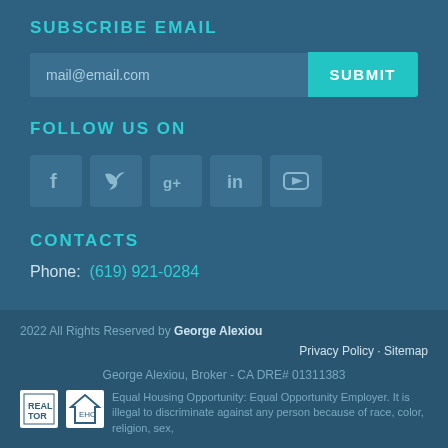SUBSCRIBE EMAIL
mail@email.com [input field] SUBMIT
FOLLOW US ON
[Figure (other): Social media icons: Facebook, Twitter, Google+, LinkedIn, YouTube]
CONTACTS
Phone: (619) 921-0284
2022 All Rights Reserved by George Alexiou
Privacy Policy - Sitemap
George Alexiou, Broker - CA DRE# 01311383
Equal Housing Opportunity: Equal Opportunity Employer. It is illegal to discriminate against any person because of race, color, religion, sex,